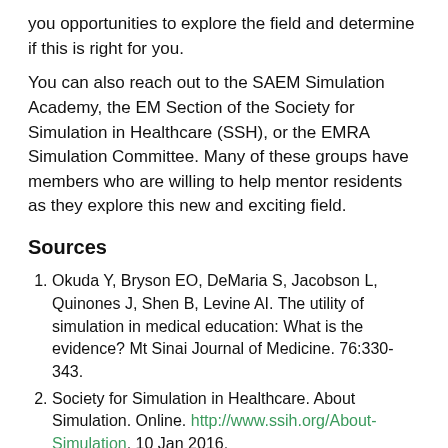you opportunities to explore the field and determine if this is right for you.
You can also reach out to the SAEM Simulation Academy, the EM Section of the Society for Simulation in Healthcare (SSH), or the EMRA Simulation Committee. Many of these groups have members who are willing to help mentor residents as they explore this new and exciting field.
Sources
Okuda Y, Bryson EO, DeMaria S, Jacobson L, Quinones J, Shen B, Levine AI. The utility of simulation in medical education: What is the evidence? Mt Sinai Journal of Medicine. 76:330-343.
Society for Simulation in Healthcare. About Simulation. Online. http://www.ssih.org/About-Simulation. 10 Jan 2016.